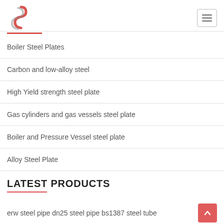Logo and navigation menu
Boiler Steel Plates
Carbon and low-alloy steel
High Yield strength steel plate
Gas cylinders and gas vessels steel plate
Boiler and Pressure Vessel steel plate
Alloy Steel Plate
LATEST PRODUCTS
erw steel pipe dn25 steel pipe bs1387 steel tube